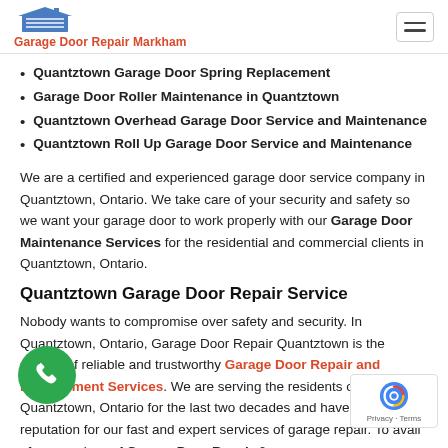Garage Door Repair Markham
Quantztown Garage Door Spring Replacement
Garage Door Roller Maintenance in Quantztown
Quantztown Overhead Garage Door Service and Maintenance
Quantztown Roll Up Garage Door Service and Maintenance
We are a certified and experienced garage door service company in Quantztown, Ontario. We take care of your security and safety so we want your garage door to work properly with our Garage Door Maintenance Services for the residential and commercial clients in Quantztown, Ontario.
Quantztown Garage Door Repair Service
Nobody wants to compromise over safety and security. In Quantztown, Ontario, Garage Door Repair Quantztown is the symbol of reliable and trustworthy Garage Door Repair and Replacement Services. We are serving the residents of Quantztown, Ontario for the last two decades and have high reputation for our fast and expert services of garage repair. To avail of our services of Garage Door Repair &